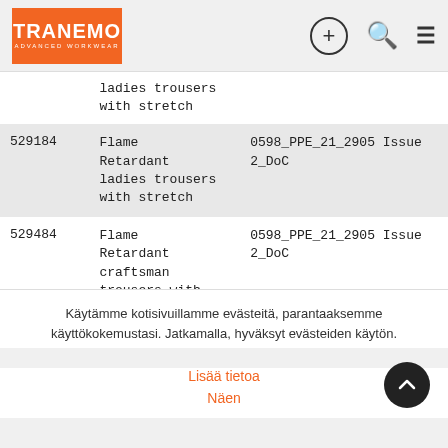TRANEMO ADVANCED WORKWEAR
| ID | Name | Document |
| --- | --- | --- |
|  | ladies trousers with stretch |  |
| 529184 | Flame Retardant ladies trousers with stretch | 0598_PPE_21_2905 Issue 2_DoC |
| 529484 | Flame Retardant craftsman trousers with | 0598_PPE_21_2905 Issue 2_DoC |
Käytämme kotisivuillamme evästeitä, parantaaksemme käyttökokemustasi. Jatkamalla, hyväksyt evästeiden käytön.
Lisää tietoa
Näen